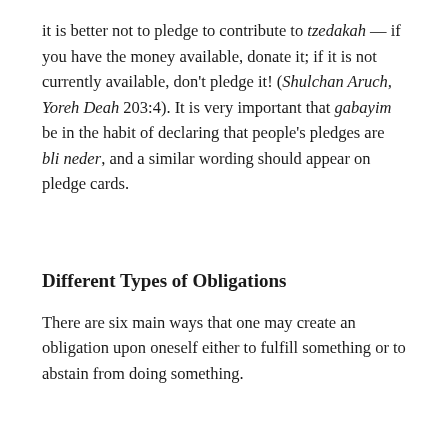it is better not to pledge to contribute to tzedakah — if you have the money available, donate it; if it is not currently available, don't pledge it! (Shulchan Aruch, Yoreh Deah 203:4). It is very important that gabayim be in the habit of declaring that people's pledges are bli neder, and a similar wording should appear on pledge cards.
Different Types of Obligations
There are six main ways that one may create an obligation upon oneself either to fulfill something or to abstain from doing something.
(1) Nedarim, vows
A neder, a vow, in which one declares that